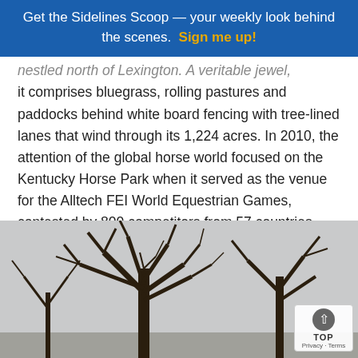Get the Sidelines Scoop — your weekly look behind the scenes. Sign me up!
nestled north of Lexington. A veritable jewel, it comprises bluegrass, rolling pastures and paddocks behind white board fencing with tree-lined lanes that wind through its 1,224 acres. In 2010, the attention of the global horse world focused on the Kentucky Horse Park when it served as the venue for the Alltech FEI World Equestrian Games, contested by 800 competitors from 57 countries.
[Figure (photo): Black and white photograph of bare winter trees with branches against a grey overcast sky, likely taken at the Kentucky Horse Park.]